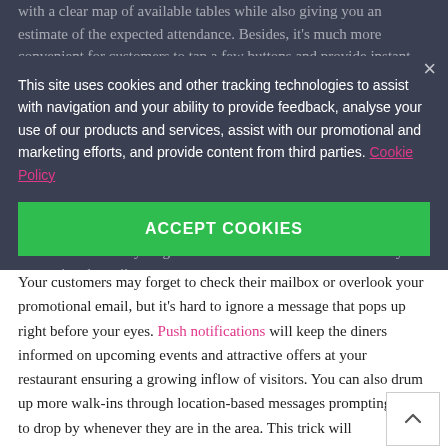with a clear map of available tables while also giving you an estimate of the expected attendance. Besides, it's much more convenient for customers to tap a few buttons and provide instant feedback on the quality of their dining experience, cutting through irritating background noise.
[Figure (screenshot): Cookie consent banner overlay with dark background, reading: 'This site uses cookies and other tracking technologies to assist with navigation and your ability to provide feedback, analyse your use of our products and services, assist with our promotional and marketing efforts, and provide content from third parties. Cookie Policy' followed by a green ACCEPT COOKIES button. A close (X) button is in the top right corner.]
Reason
Your customers may forget to check their mailbox or overlook your promotional email, but it's hard to ignore a message that pops up right before your eyes. Push notifications will keep the diners informed on upcoming events and attractive offers at your restaurant ensuring a growing inflow of visitors. You can also drum up more walk-ins through location-based messages prompting users to drop by whenever they are in the area. This trick will